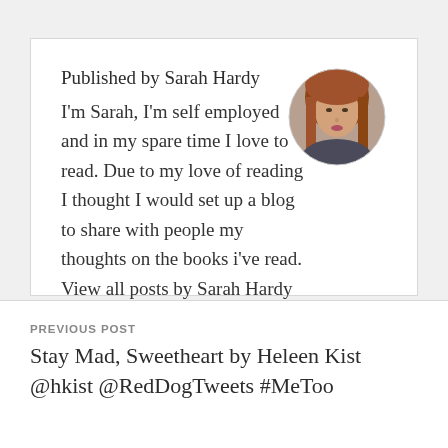Published by Sarah Hardy
[Figure (photo): Circular profile photo of Sarah Hardy, a woman with long reddish-brown hair]
I'm Sarah, I'm self employed and in my spare time I love to read. Due to my love of reading I thought I would set up a blog to share with people my thoughts on the books i've read. View all posts by Sarah Hardy
PREVIOUS POST
Stay Mad, Sweetheart by Heleen Kist @hkist @RedDogTweets #MeToo